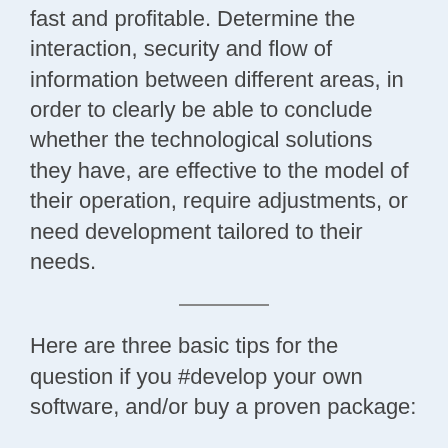fast and profitable. Determine the interaction, security and flow of information between different areas, in order to clearly be able to conclude whether the technological solutions they have, are effective to the model of their operation, require adjustments, or need development tailored to their needs.
Here are three basic tips for the question if you #develop your own software, and/or buy a proven package:
1. Is the company's operating model 100% automated? If the answer to this question is "no", you should